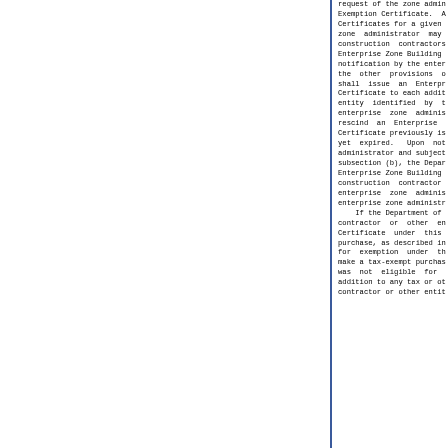request of the zone administrator for an Enterprise Zone Building Material Exemption Certificate. After the issuance of Exemption Certificates for a given enterprise zone project, the enterprise zone administrator may notify the Department of Revenue that construction contractors or other entities may purchase Enterprise Zone Building Material Exemptions. Upon notification by the enterprise zone administrator and subject to the other provisions of this subsection (b), the Department shall issue an Enterprise Zone Building Material Exemption Certificate to each additional construction contractor or other entity identified by the enterprise zone administrator. The enterprise zone administrator may at any time request that the Department rescind an Enterprise Zone Building Material Exemption Certificate previously issued by the Department that has not yet expired. Upon notification by the enterprise zone administrator and subject to the other provisions of this subsection (b), the Department shall rescind an Enterprise Zone Building Material Exemption Certificate previously issued to any construction contractor or other entity identified by the enterprise zone administrator as directed to rescind by the enterprise zone administrator.
    If the Department of Revenue determines that a construction contractor or other entity that received an Enterprise Zone Building Material Exemption Certificate under this subsection (b) used that certificate to make a tax-exempt purchase, as described in this Section, of tangible personal property not eligible for exemption under this Section, or otherwise improperly used an exemption certificate to make a tax-exempt purchase, as described in this Section, of tangible personal property that was not eligible for exemption under this Section, that construction contractor or other entity is subject to a penalty, in addition to any tax or other penalty imposed under this Code, equal to the amount of tax that would have been due on the purchase. The construction contractor or other entity is subject to a